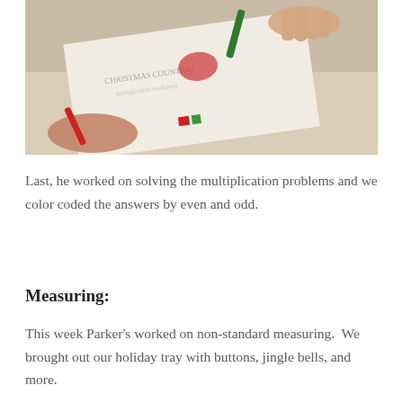[Figure (photo): Child's hands coloring a Christmas-themed multiplication worksheet with red and green crayons on a white paper placed on a desk]
Last, he worked on solving the multiplication problems and we color coded the answers by even and odd.
Measuring:
This week Parker's worked on non-standard measuring.  We brought out our holiday tray with buttons, jingle bells, and more.